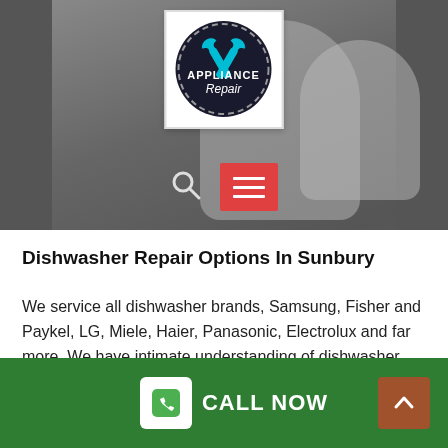[Figure (screenshot): Hero banner showing a dark/grey background representing a dishwasher interior, with an Appliance Repair logo in the center top, plus a search icon and red hamburger menu button below it.]
Dishwasher Repair Options In Sunbury
We service all dishwasher brands, Samsung, Fisher and Paykel, LG, Miele, Haier, Panasonic, Electrolux and far more. We have intimate understanding of dishwasher problems, so you can depend on us to look after your dishwashing machine repairs.
CALL NOW